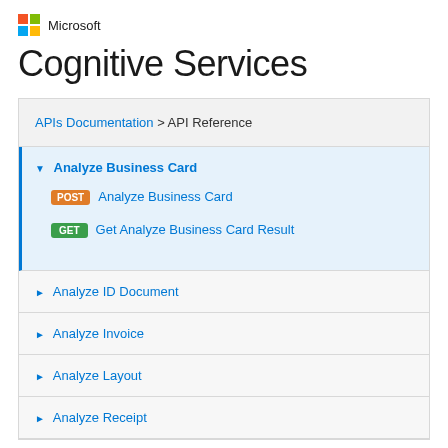[Figure (logo): Microsoft logo with four colored squares (red, green, blue, yellow) and 'Microsoft' wordmark]
Cognitive Services
APIs Documentation > API Reference
▼ Analyze Business Card
POST Analyze Business Card
GET Get Analyze Business Card Result
► Analyze ID Document
► Analyze Invoice
► Analyze Layout
► Analyze Receipt